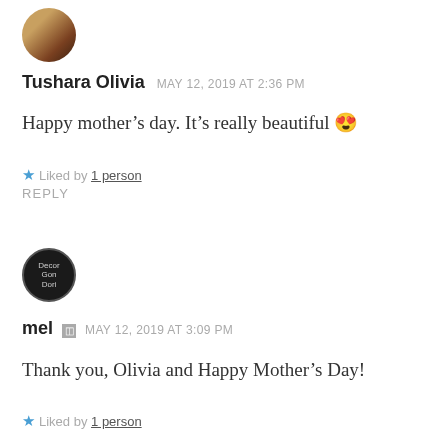[Figure (photo): Round avatar photo of Tushara Olivia, showing a person with warm brown tones]
Tushara Olivia   MAY 12, 2019 AT 2:36 PM
Happy mother’s day. It’s really beautiful 😍
★ Liked by 1 person
REPLY
[Figure (logo): Round dark circular avatar/logo for 'Decor Gon Dori' or similar text]
mel   MAY 12, 2019 AT 3:09 PM
Thank you, Olivia and Happy Mother’s Day!
★ Liked by 1 person